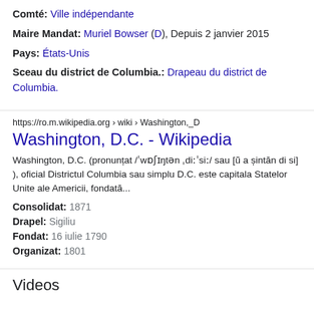Comté: Ville indépendante
Maire Mandat: Muriel Bowser (D), Depuis 2 janvier 2015
Pays: États-Unis
Sceau du district de Columbia.: Drapeau du district de Columbia.
https://ro.m.wikipedia.org › wiki › Washington,_D
Washington, D.C. - Wikipedia
Washington, D.C. (pronunțat /ˈwɒʃɪŋtən ˌdiːˈsiː/ sau [ũ a șintăn di si] ), oficial Districtul Columbia sau simplu D.C. este capitala Statelor Unite ale Americii, fondată...
Consolidat: 1871
Drapel: Sigiliu
Fondat: 16 iulie 1790
Organizat: 1801
Videos